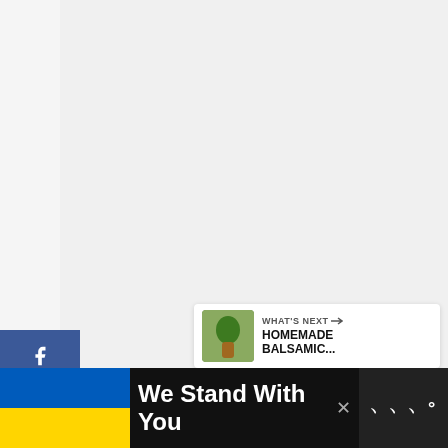[Figure (screenshot): Light gray content area placeholder]
[Figure (infographic): Social sharing sidebar with Facebook (414 shares), Twitter, and Pinterest (199 saves) buttons]
[Figure (infographic): Heart/like button showing 622 likes, and a share button, on the right side]
WHAT'S NEXT → HOMEMADE BALSAMIC...
We Stand With You